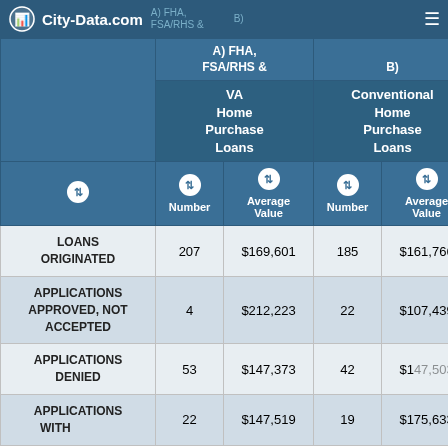City-Data.com
|  | A) FHA, FSA/RHS & VA Home Purchase Loans — Number | A) FHA, FSA/RHS & VA Home Purchase Loans — Average Value | B) Conventional Home Purchase Loans — Number | B) Conventional Home Purchase Loans — Average Value | Num... |
| --- | --- | --- | --- | --- | --- |
| LOANS ORIGINATED | 207 | $169,601 | 185 | $161,766 | 4 |
| APPLICATIONS APPROVED, NOT ACCEPTED | 4 | $212,223 | 22 | $107,439 | 5 |
| APPLICATIONS DENIED | 53 | $147,373 | 42 | $147,503 | 3 |
| APPLICATIONS WITHDRAWN | 22 | $147,519 | 19 | $175,633 | 1 |